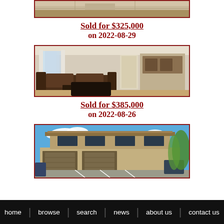[Figure (photo): Interior photo of a property (partial, top cropped), showing architectural details]
Sold for $325,000
on 2022-08-29
[Figure (photo): Interior photo of a living room with brown leather sofa, coffee table, windows with white curtains, and kitchen area visible in background]
Sold for $385,000
on 2022-08-26
[Figure (photo): Exterior photo of a multi-story condominium building with stone facade, blue sky, parking lot in foreground]
home   browse   search   news   about us   contact us